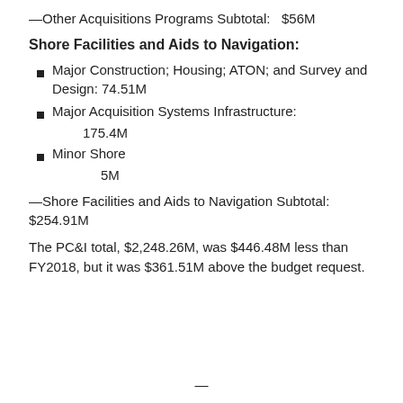—Other Acquisitions Programs Subtotal:   $56M
Shore Facilities and Aids to Navigation:
Major Construction; Housing; ATON; and Survey and Design: 74.51M
Major Acquisition Systems Infrastructure:
175.4M
Minor Shore
5M
—Shore Facilities and Aids to Navigation Subtotal: $254.91M
The PC&I total, $2,248.26M, was $446.48M less than FY2018, but it was $361.51M above the budget request.
—